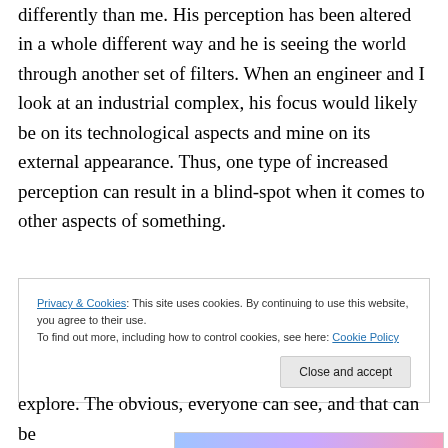differently than me. His perception has been altered in a whole different way and he is seeing the world through another set of filters. When an engineer and I look at an industrial complex, his focus would likely be on its technological aspects and mine on its external appearance. Thus, one type of increased perception can result in a blind-spot when it comes to other aspects of something.
[Figure (other): WordPress.com advertisement banner with text 'everything you need.' and WordPress.com logo on a gradient background (blue to pink). Includes 'REPORT THIS AD' text below.]
Privacy & Cookies: This site uses cookies. By continuing to use this website, you agree to their use.
To find out more, including how to control cookies, see here: Cookie Policy
[Close and accept button]
explore. The obvious, everyone can see, and that can be